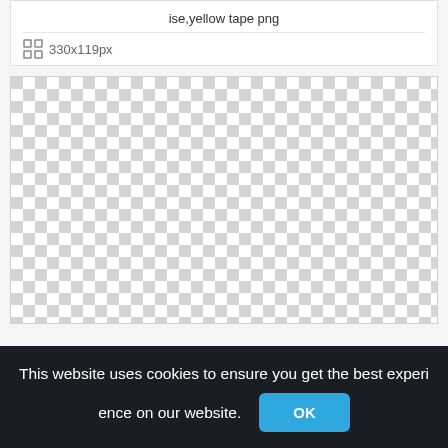ise,yellow tape png
330x119px
[Figure (other): Checkerboard transparency pattern representing a PNG image with transparent background, sized 330x119px]
This website uses cookies to ensure you get the best experience on our website.
OK